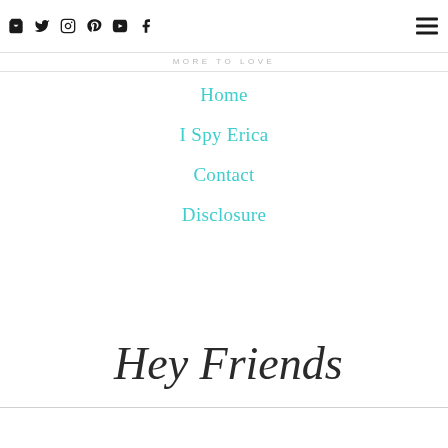Social icons: bag, twitter, instagram, pinterest, youtube, facebook; hamburger menu
MORE TO LOVE
Home
I Spy Erica
Contact
Disclosure
[Figure (illustration): Handwritten cursive script reading 'Hey Friends']